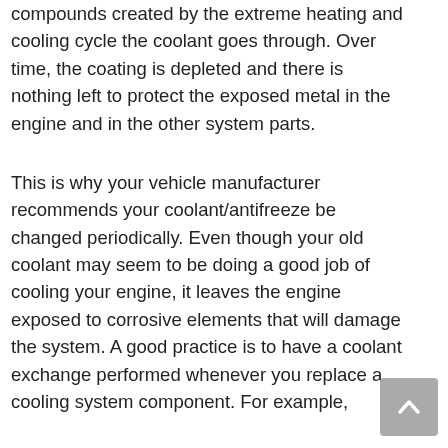compounds created by the extreme heating and cooling cycle the coolant goes through. Over time, the coating is depleted and there is nothing left to protect the exposed metal in the engine and in the other system parts.
This is why your vehicle manufacturer recommends your coolant/antifreeze be changed periodically. Even though your old coolant may seem to be doing a good job of cooling your engine, it leaves the engine exposed to corrosive elements that will damage the system. A good practice is to have a coolant exchange performed whenever you replace a cooling system component. For example,